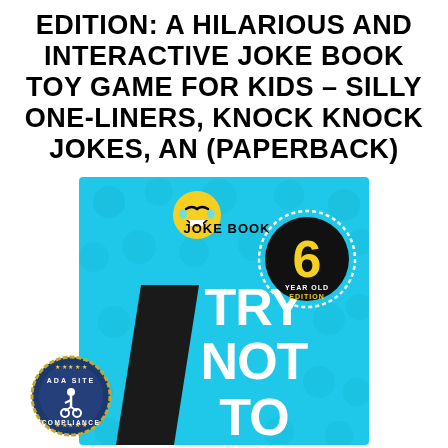EDITION: A HILARIOUS AND INTERACTIVE JOKE BOOK TOY GAME FOR KIDS – SILLY ONE-LINERS, KNOCK KNOCK JOKES, AN (PAPERBACK)
[Figure (illustration): Book cover for 'Try Not To' Joke Book, 6 Year Old Edition. Cyan/teal background with emoji face patterns, a laughing emoji icon, text 'JOKE BOOK', large white bold text 'TRY NOT TO', a black circle badge with yellow '6' and 'YEAR OLD EDITION' text. ADA Site Compliance badge overlaid at bottom left.]